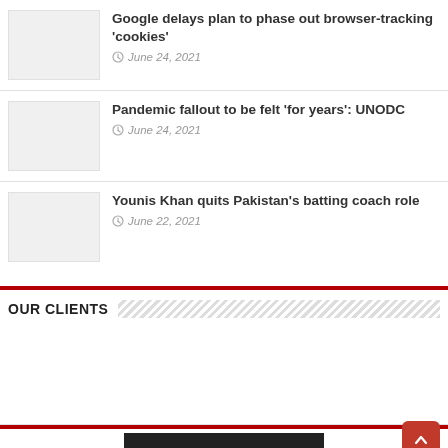Google delays plan to phase out browser-tracking 'cookies' — June 24, 2021
Pandemic fallout to be felt 'for years': UNODC — June 24, 2021
Younis Khan quits Pakistan's batting coach role — June 22, 2021
OUR CLIENTS